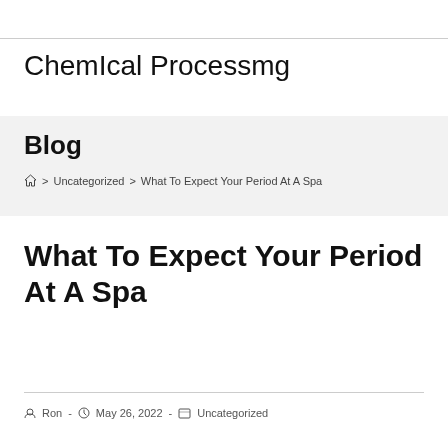Chemical Processmg
Blog
Home > Uncategorized > What To Expect Your Period At A Spa
What To Expect Your Period At A Spa
Ron - May 26, 2022 - Uncategorized